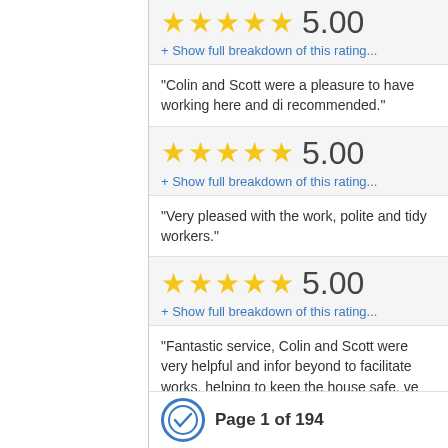[Figure (other): 5-star rating showing 5 gold stars and score 5.00]
+ Show full breakdown of this rating...
"Colin and Scott were a pleasure to have working here and di recommended."
[Figure (other): 5-star rating showing 5 gold stars and score 5.00]
+ Show full breakdown of this rating...
"Very pleased with the work, polite and tidy workers."
[Figure (other): 5-star rating showing 5 gold stars and score 5.00]
+ Show full breakdown of this rating...
"Fantastic service, Colin and Scott were very helpful and infor beyond to facilitate works, helping to keep the house safe, ve themselves☺"
Page 1 of 194